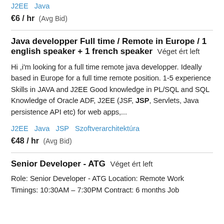J2EE Java
€6 / hr  (Avg Bid)
Java developper Full time / Remote in Europe / 1 english speaker + 1 french speaker  Véget ért left
Hi ,i'm looking for a full time remote java developper. Ideally based in Europe for a full time remote position. 1-5 experience Skills in JAVA and J2EE Good knowledge in PL/SQL and SQL Knowledge of Oracle ADF, J2EE (JSF, JSP, Servlets, Java persistence API etc) for web apps,...
J2EE  Java  JSP  Szoftverarchitektúra
€48 / hr  (Avg Bid)
Senior Developer - ATG  Véget ért left
Role: Senior Developer - ATG Location: Remote Work Timings: 10:30AM – 7:30PM Contract: 6 months Job